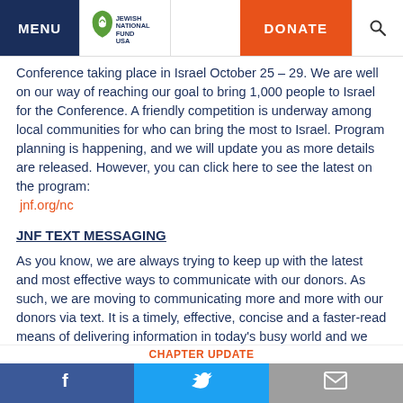MENU | Jewish National Fund USA | DONATE
Conference taking place in Israel October 25 – 29. We are well on our way of reaching our goal to bring 1,000 people to Israel for the Conference. A friendly competition is underway among local communities for who can bring the most to Israel. Program planning is happening, and we will update you as more details are released. However, you can click here to see the latest on the program: jnf.org/nc
JNF TEXT MESSAGING
As you know, we are always trying to keep up with the latest and most effective ways to communicate with our donors. As such, we are moving to communicating more and more with our donors via text. It is a timely, effective, concise and a faster-read means of delivering information in today's busy world and we are careful to use it judiciously. As a member of our leadership team, it is important that you are opted in to receive these texts.